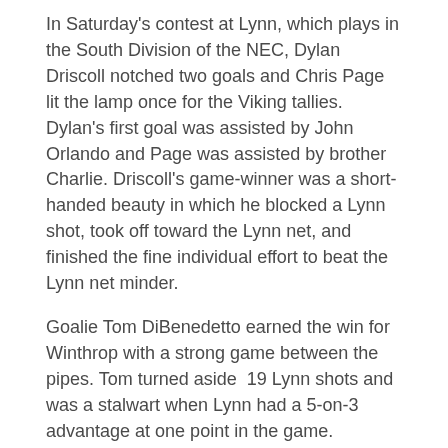In Saturday's contest at Lynn, which plays in the South Division of the NEC, Dylan Driscoll notched two goals and Chris Page lit the lamp once for the Viking tallies. Dylan's first goal was assisted by John Orlando and Page was assisted by brother Charlie. Driscoll's game-winner was a short-handed beauty in which he blocked a Lynn shot, took off toward the Lynn net, and finished the fine individual effort to beat the Lynn net minder.
Goalie Tom DiBenedetto earned the win for Winthrop with a strong game between the pipes. Tom turned aside  19 Lynn shots and was a stalwart when Lynn had a 5-on-3 advantage at one point in the game.
Coach Dale Dunbar and his crew will conclude their regular season tomorrow evening (Friday) when they host Mansfield at Larsen in  non-league battle. The Vikings will be seeking to avenge an early-season 3-2 loss at Mansfield and improve their seeding for the upcoming state tournament. The contest also will be highlighted by Senior Night festivities at which Viking seniors Chris Page, John Orlando, Steve Goddard, Chris Capone, Chris